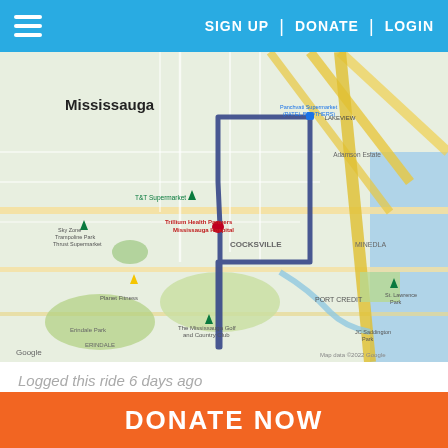SIGN UP | DONATE | LOGIN
[Figure (map): Google Maps screenshot showing a cycling route in Mississauga, Ontario, Canada. The route is drawn in dark blue/navy and traces a path through the Cooksville area near Trillium Health Partners Mississauga Hospital. Landmarks visible include Panchvati Supermarket (PATEL BROTHERS), T&T Supermarket, Sky Zone Trampoline Park, Planet Fitness, The Mississauga Golf and Country Club, Adamson Estate, Port Credit, Erindale Park. Map data ©2022 Google.]
Logged this ride 6 days ago
12.0 km ride - Rode 11.97 km on 08/21/22 - Sunday, August 21, 2022
DONATE NOW